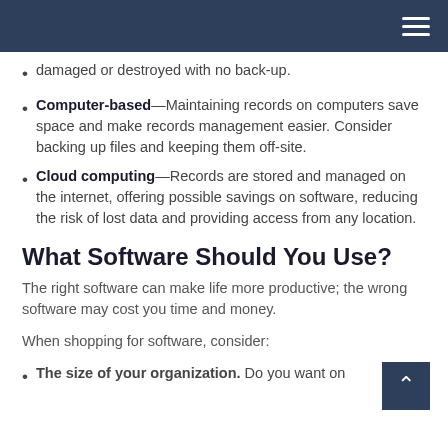damaged or destroyed with no back-up.
Computer-based—Maintaining records on computers save space and make records management easier. Consider backing up files and keeping them off-site.
Cloud computing—Records are stored and managed on the internet, offering possible savings on software, reducing the risk of lost data and providing access from any location.
What Software Should You Use?
The right software can make life more productive; the wrong software may cost you time and money.
When shopping for software, consider:
The size of your organization. Do you want on...